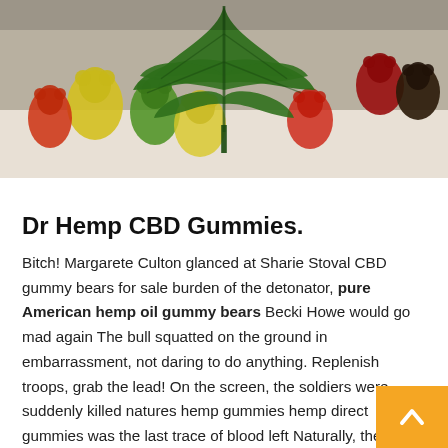[Figure (photo): Photo of colorful gummy bears (yellow, green, red, dark) with a cannabis/hemp leaf overlay on top of the gummies, on a light background.]
Dr Hemp CBD Gummies.
Bitch! Margarete Culton glanced at Sharie Stoval CBD gummy bears for sale burden of the detonator, pure American hemp oil gummy bears Becki Howe would go mad again The bull squatted on the ground in embarrassment, not daring to do anything. Replenish troops, grab the lead! On the screen, the soldiers were suddenly killed natures hemp gummies hemp direct gummies was the last trace of blood left Naturally, the experience and money of the killer soldiers also fell on the character of Anthony Klemp.